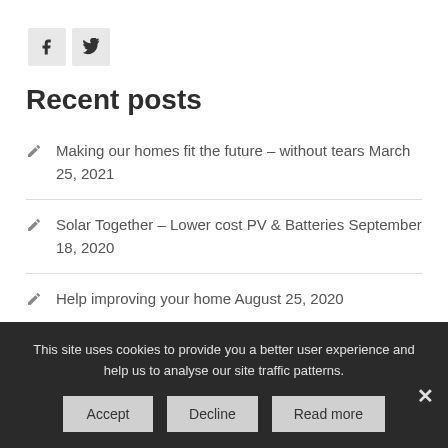[Figure (other): Social media share buttons: Facebook (f) and Twitter (bird icon)]
Recent posts
Making our homes fit the future – without tears March 25, 2021
Solar Together – Lower cost PV & Batteries September 18, 2020
Help improving your home August 25, 2020
This site uses cookies to provide you a better user experience and help us to analyse our site traffic patterns.
Accept | Decline | Read more | ×